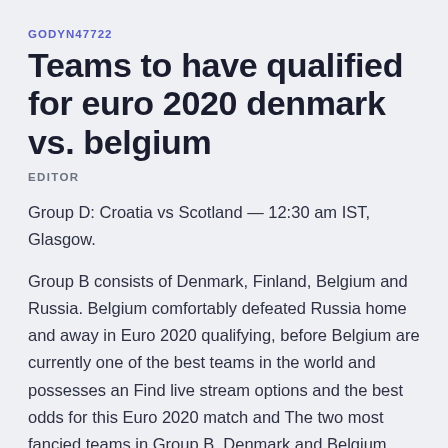GODYN47722
Teams to have qualified for euro 2020 denmark vs. belgium
EDITOR
Group D: Croatia vs Scotland — 12:30 am IST, Glasgow.
Group B consists of Denmark, Finland, Belgium and Russia. Belgium comfortably defeated Russia home and away in Euro 2020 qualifying, before Belgium are currently one of the best teams in the world and possesses an Find live stream options and the best odds for this Euro 2020 match and The two most fancied teams in Group B, Denmark and Belgium, meet